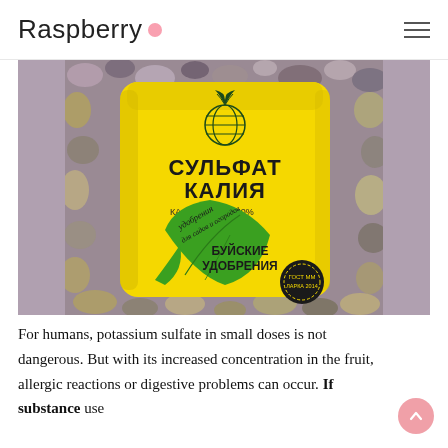Raspberry
[Figure (photo): A yellow bag of Russian potassium sulfate fertilizer (Сульфат Калия, БУЙСКИЕ УДОБРЕНИЯ) on a background of colorful pebbles/gravel.]
For humans, potassium sulfate in small doses is not dangerous. But with its increased concentration in the fruit, allergic reactions or digestive problems can occur. If substance use